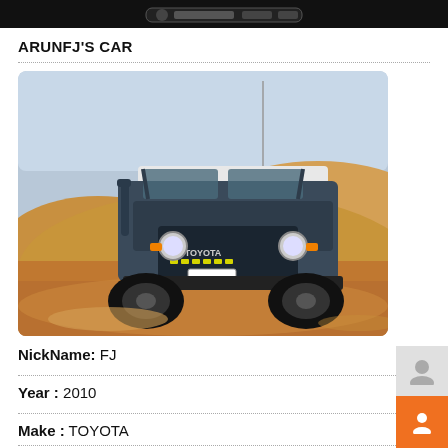ARUNFJ'S CAR
[Figure (photo): Toyota FJ Cruiser SUV driving through sand dunes in a desert, front view, dark blue/grey color, with license plate 31610]
NickName: FJ
Year : 2010
Make : TOYOTA
Model : FJ CRUISER